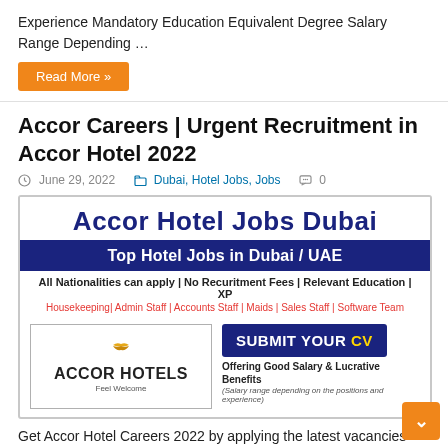Experience Mandatory Education Equivalent Degree Salary Range Depending …
Read More »
Accor Careers | Urgent Recruitment in Accor Hotel 2022
June 29, 2022  Dubai, Hotel Jobs, Jobs  0
[Figure (infographic): Accor Hotel Jobs Dubai advertisement image. Title: Accor Hotel Jobs Dubai. Subtitle: Top Hotel Jobs in Dubai / UAE. Text: All Nationalities can apply | No Recuitment Fees | Relevant Education | XP. Listed roles: Housekeeping | Admin Staff | Accounts Staff | Maids | Sales Staff | Software Team. Accor Hotels logo on left. Submit Your CV button on right. Offering Good Salary & Lucrative Benefits. Salary range depending on the positions and experience.]
Get Accor Hotel Careers 2022 by applying the latest vacancies through the online application process. Accor Hotel is one of the